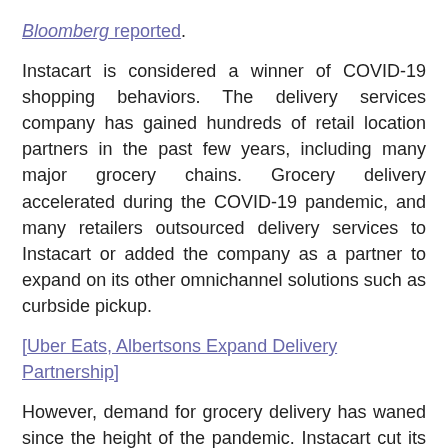Bloomberg reported.
Instacart is considered a winner of COVID-19 shopping behaviors. The delivery services company has gained hundreds of retail location partners in the past few years, including many major grocery chains. Grocery delivery accelerated during the COVID-19 pandemic, and many retailers outsourced delivery services to Instacart or added the company as a partner to expand on its other omnichannel solutions such as curbside pickup.
[Uber Eats, Albertsons Expand Delivery Partnership]
However, demand for grocery delivery has waned since the height of the pandemic. Instacart cut its valuation to $24 billion—down from $39 billion—in March, according to Bloomberg. In addition, Instacart's IPO could come at a volatile time for the stock market.